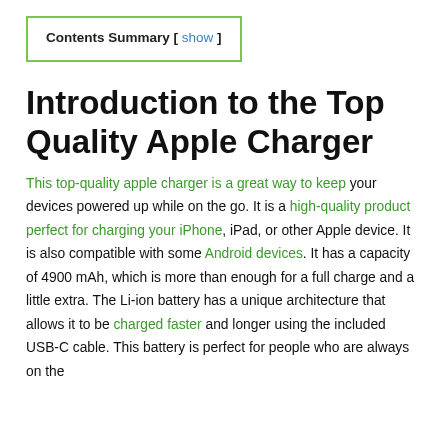Contents Summary [ show ]
Introduction to the Top Quality Apple Charger
This top-quality apple charger is a great way to keep your devices powered up while on the go. It is a high-quality product perfect for charging your iPhone, iPad, or other Apple device. It is also compatible with some Android devices. It has a capacity of 4900 mAh, which is more than enough for a full charge and a little extra. The Li-ion battery has a unique architecture that allows it to be charged faster and longer using the included USB-C cable. This battery is perfect for people who are always on the